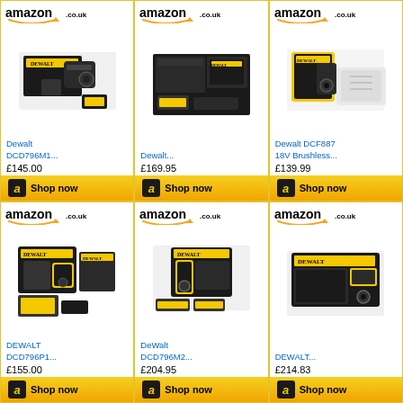[Figure (screenshot): Amazon.co.uk product listing for Dewalt DCD796M1 drill, showing product image, title, price £145.00, and Shop now button]
[Figure (screenshot): Amazon.co.uk product listing for Dewalt drill (truncated title), showing product image, price £169.95, and Shop now button]
[Figure (screenshot): Amazon.co.uk product listing for Dewalt DCF887 18V Brushless drill, showing product image, price £139.99, and Shop now button]
[Figure (screenshot): Amazon.co.uk product listing for DEWALT DCD796P1 drill, showing product image, price £155.00, and partial Shop now button]
[Figure (screenshot): Amazon.co.uk product listing for DeWalt DCD796M2 drill, showing product image, price £204.95, and partial Shop now button]
[Figure (screenshot): Amazon.co.uk product listing for DEWALT drill (truncated title), showing product image, price £214.83, and partial Shop now button]